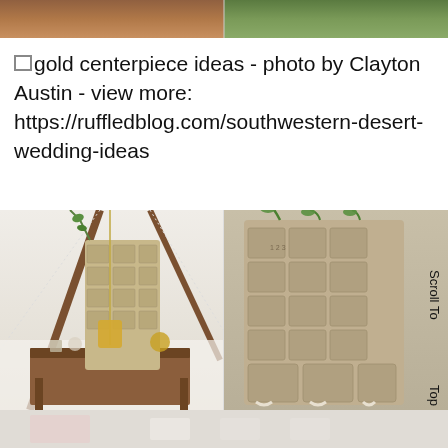[Figure (photo): Top strip showing two partial photos: left side shows warm brown/tan tones (person or object), right side shows green foliage]
gold centerpiece ideas - photo by Clayton Austin - view more: https://ruffledblog.com/southwestern-desert-wedding-ideas
[Figure (photo): Two side-by-side wedding decoration photos inside a tent: left shows a wooden table with gold/glass decorations and hanging plants, right shows a large burlap/canvas pocket organizer with greenery hanging from it. 'Scroll To Top' text visible on right edge.]
[Figure (photo): Bottom partial strip showing blurred/faded photo with pink and white tones]